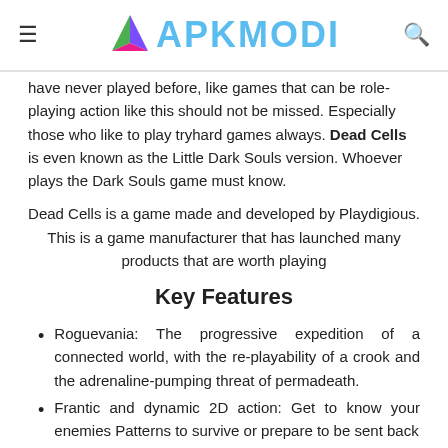APKMODI
have never played before, like games that can be role-playing action like this should not be missed. Especially those who like to play tryhard games always. Dead Cells is even known as the Little Dark Souls version. Whoever plays the Dark Souls game must know.
Dead Cells is a game made and developed by Playdigious. This is a game manufacturer that has launched many products that are worth playing
Key Features
Roguevania: The progressive expedition of a connected world, with the re-playability of a crook and the adrenaline-pumping threat of permadeath.
Frantic and dynamic 2D action: Get to know your enemies Patterns to survive or prepare to be sent back